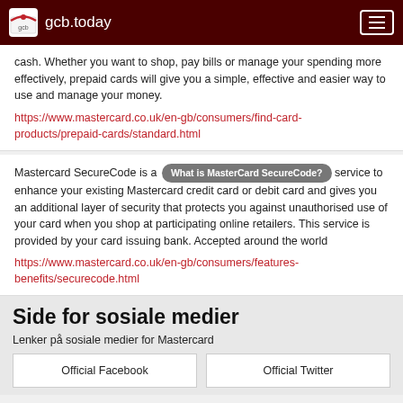gcb.today
cash. Whether you want to shop, pay bills or manage your spending more effectively, prepaid cards will give you a simple, effective and easier way to use and manage your money. https://www.mastercard.co.uk/en-gb/consumers/find-card-products/prepaid-cards/standard.html
Mastercard SecureCode is a [What is MasterCard SecureCode?] service to enhance your existing Mastercard credit card or debit card and gives you an additional layer of security that protects you against unauthorised use of your card when you shop at participating online retailers. This service is provided by your card issuing bank. Accepted around the world https://www.mastercard.co.uk/en-gb/consumers/features-benefits/securecode.html
Side for sosiale medier
Lenker på sosiale medier for Mastercard
Official Facebook
Official Twitter